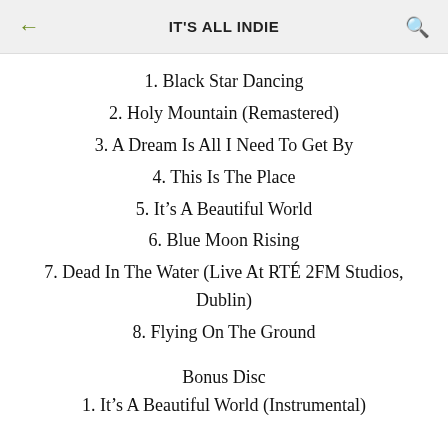IT'S ALL INDIE
1. Black Star Dancing
2. Holy Mountain (Remastered)
3. A Dream Is All I Need To Get By
4. This Is The Place
5. It’s A Beautiful World
6. Blue Moon Rising
7. Dead In The Water (Live At RTÉ 2FM Studios, Dublin)
8. Flying On The Ground
Bonus Disc
1. It’s A Beautiful World (Instrumental)